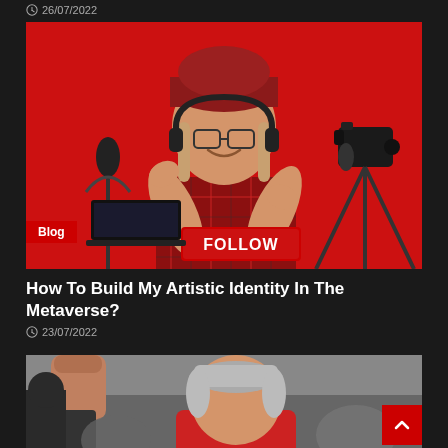26/07/2022
[Figure (photo): Young woman vlogger/content creator in red plaid shirt, beanie hat and headphones, holding a FOLLOW sign, sitting in front of microphone and camera on tripod against red background. Blog badge in lower left corner.]
How To Build My Artistic Identity In The Metaverse?
23/07/2022
[Figure (photo): Older man with grey hair raising his fist, wearing a red shirt, partially cropped photo.]